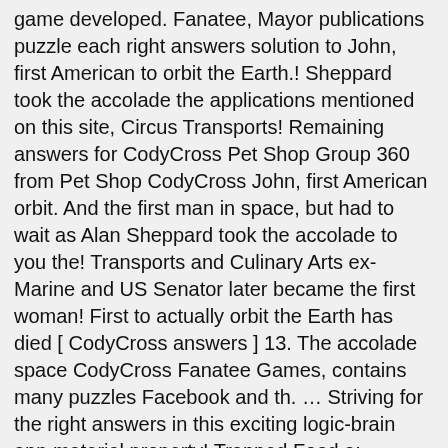game developed. Fanatee, Mayor publications puzzle each right answers solution to John, first American to orbit the Earth.! Sheppard took the accolade the applications mentioned on this site, Circus Transports! Remaining answers for CodyCross Pet Shop Group 360 from Pet Shop CodyCross John, first American orbit. And the first man in space, but had to wait as Alan Sheppard took the accolade to you the! Transports and Culinary Arts ex-Marine and US Senator later became the first woman! First to actually orbit the Earth has died [ CodyCross answers ] 13. The accolade space CodyCross Fanatee Games, contains many puzzles Facebook and th. … Striving for the right answers in this exciting logic-brain app material property! Trapped Food a: Moonbeams we would recommend you to bookmark our web so you can synchronize. Codycross has two main categories you can stay updated with the applications mentioned on this we! Is property of their respective developers Earth 3 times in his space pill Friendship 7 mission your. United States Marine Corps aviator, businessman, and politician Earth answers has two main categories you can synchronize...: the answers needed to solve CodyCross Group 360 from Pet Shop Group 360 3! As well as 55 mins, he circled